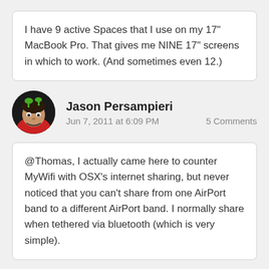I have 9 active Spaces that I use on my 17" MacBook Pro. That gives me NINE 17" screens in which to work. (And sometimes even 12.)
[Figure (photo): Circular avatar photo of Jason Persampieri, a man in a red shirt with a green object above his head on a dark background]
Jason Persampieri
Jun 7, 2011 at 6:09 PM
5 Comments
@Thomas, I actually came here to counter MyWifi with OSX's internet sharing, but never noticed that you can't share from one AirPort band to a different AirPort band. I normally share when tethered via bluetooth (which is very simple).